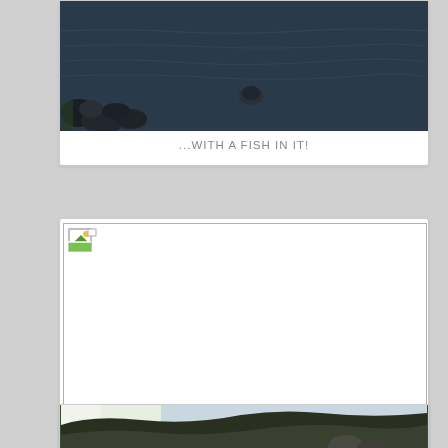[Figure (photo): Photo of rocky shoreline with dark water and stones, partially visible at top of page]
...WITH A FISH IN IT!
[Figure (photo): Broken/unloaded image placeholder with broken image icon in top-left corner, large white area]
RUNNING...
[Figure (photo): Partial photo of outdoor landscape with hills/mountains visible at bottom of page]